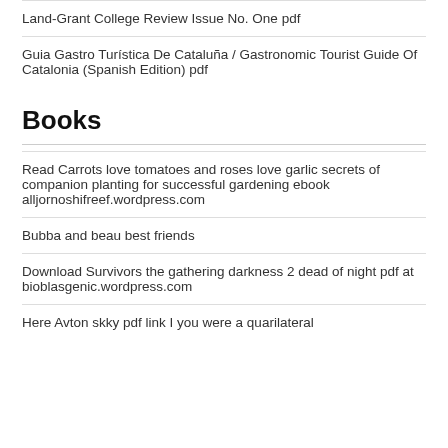Land-Grant College Review Issue No. One pdf
Guia Gastro Turística De Cataluña / Gastronomic Tourist Guide Of Catalonia (Spanish Edition) pdf
Books
Read Carrots love tomatoes and roses love garlic secrets of companion planting for successful gardening ebook alljornoshifreef.wordpress.com
Bubba and beau best friends
Download Survivors the gathering darkness 2 dead of night pdf at bioblasgenic.wordpress.com
Here Avton skky pdf link I you were a quarilateral